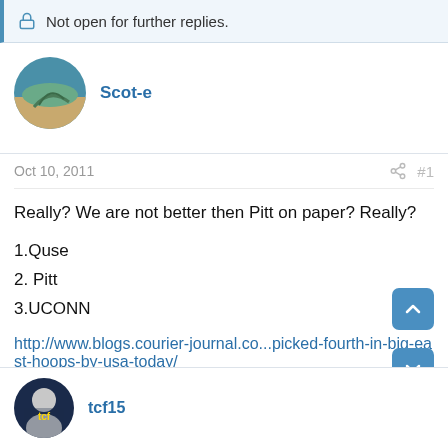Not open for further replies.
Scot-e
Oct 10, 2011  #1
Really? We are not better then Pitt on paper? Really?
1.Quse
2. Pitt
3.UCONN
http://www.blogs.courier-journal.co...picked-fourth-in-big-east-hoops-by-usa-today/
scum.
tcf15